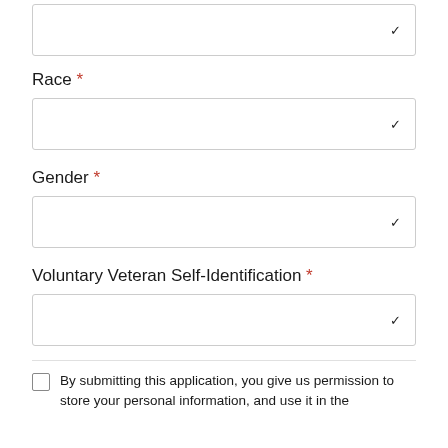Race *
[dropdown field]
Gender *
[dropdown field]
Voluntary Veteran Self-Identification *
[dropdown field]
By submitting this application, you give us permission to store your personal information, and use it in the